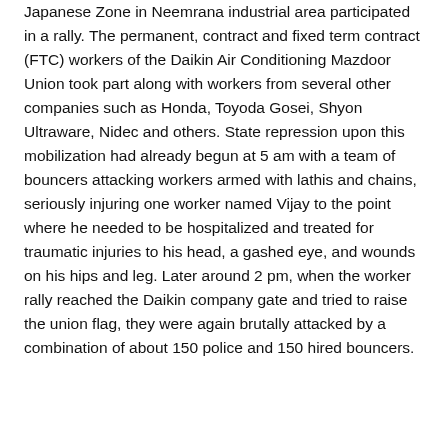Japanese Zone in Neemrana industrial area participated in a rally. The permanent, contract and fixed term contract (FTC) workers of the Daikin Air Conditioning Mazdoor Union took part along with workers from several other companies such as Honda, Toyoda Gosei, Shyon Ultraware, Nidec and others. State repression upon this mobilization had already begun at 5 am with a team of bouncers attacking workers armed with lathis and chains, seriously injuring one worker named Vijay to the point where he needed to be hospitalized and treated for traumatic injuries to his head, a gashed eye, and wounds on his hips and leg. Later around 2 pm, when the worker rally reached the Daikin company gate and tried to raise the union flag, they were again brutally attacked by a combination of about 150 police and 150 hired bouncers.